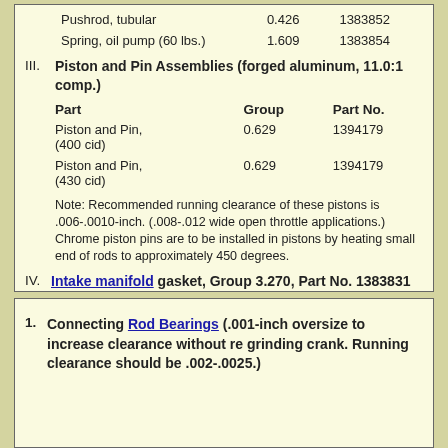| Part | Group | Part No. |
| --- | --- | --- |
| Pushrod, tubular | 0.426 | 1383852 |
| Spring, oil pump (60 lbs.) | 1.609 | 1383854 |
III. Piston and Pin Assemblies (forged aluminum, 11.0:1 comp.)
| Part | Group | Part No. |
| --- | --- | --- |
| Piston and Pin, (400 cid) | 0.629 | 1394179 |
| Piston and Pin, (430 cid) | 0.629 | 1394179 |
Note: Recommended running clearance of these pistons is .006-.0010-inch. (.008-.012 wide open throttle applications.) Chrome piston pins are to be installed in pistons by heating small end of rods to approximately 450 degrees.
IV. Intake manifold gasket, Group 3.270, Part No. 1383831 (blocked heat riser)
1. Connecting Rod Bearings (.001-inch oversize to increase clearance without re grinding crank. Running clearance should be .002-.0025.)